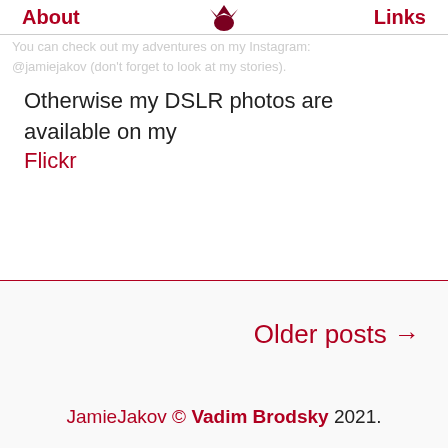About  [fox logo]  Links
You can check out my adventures on my Instagram: @jamiejakov (don't forget to look at my stories).
Otherwise my DSLR photos are available on my Flickr
Older posts →
JamieJakov © Vadim Brodsky 2021.